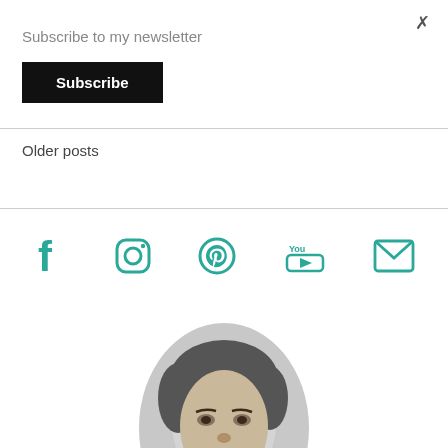Subscribe to my newsletter
Subscribe
Older posts
[Figure (infographic): Social media icons row: Facebook, Instagram, Pinterest, YouTube, Email — all in teal/green color]
[Figure (photo): Black and white oval portrait photo of a woman, cropped at the top showing head and shoulders]